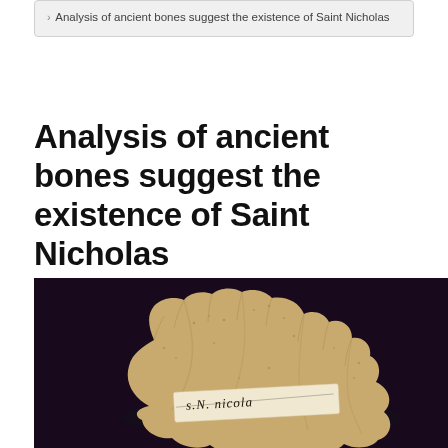Analysis of ancient bones suggest the existence of Saint Nicholas
Analysis of ancient bones suggest the existence of Saint Nicholas
[Figure (photo): Photograph of an ancient bone fragment (jawbone) on a dark background, with a handwritten label reading 's.N. nicola' attached to it.]